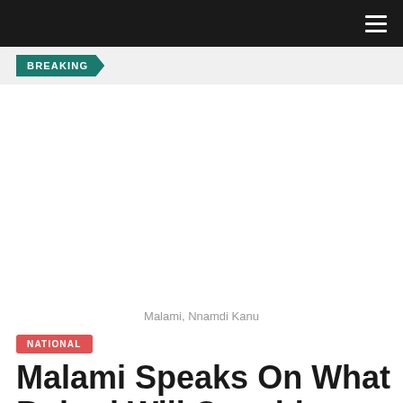BREAKING
[Figure (photo): Photo of Malami and Nnamdi Kanu, blank/white placeholder image area]
Malami, Nnamdi Kanu
NATIONAL
Malami Speaks On What Buhari Will Consider